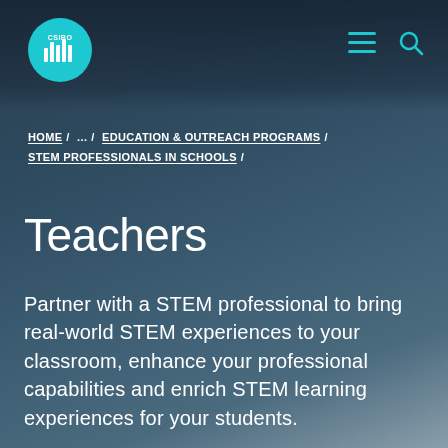[Figure (logo): CSIRO circular logo with sound wave / bar chart icon in teal on white circle background]
HOME / ... / EDUCATION & OUTREACH PROGRAMS / STEM PROFESSIONALS IN SCHOOLS /
Teachers
Partner with a STEM professional to bring real-world STEM experiences to your classroom, enhance your professional capabilities and enrich STEM learning experiences for your students.